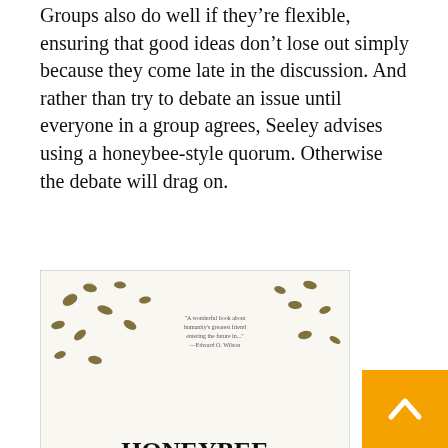Groups also do well if they're flexible, ensuring that good ideas don't lose out simply because they come late in the discussion. And rather than try to debate an issue until everyone in a group agrees, Seeley advises using a honeybee-style quorum. Otherwise the debate will drag on.
[Figure (photo): Book cover of 'Honeybee Democracy' by Thomas D. Seeley, featuring illustrated bees on a white background]
One of the strengths of honeybees is that they share the same goal: finding a new home. People who come together in a democracy, however, may have competing interests. Seeley advises that people should be made to feel that they are part of the decision-making group, so that their debates don't be about destroying the enemy, but about finding a solution